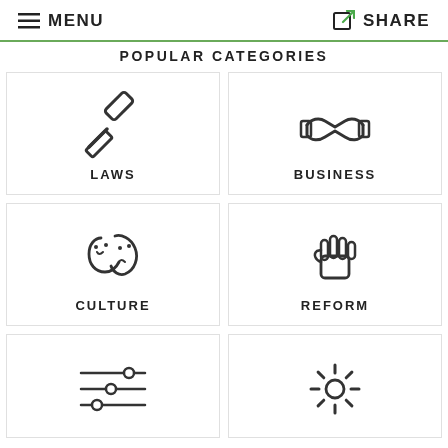MENU   SHARE
POPULAR CATEGORIES
[Figure (illustration): Gavel icon representing Laws category]
[Figure (illustration): Handshake icon representing Business category]
[Figure (illustration): Theater masks icon representing Culture category]
[Figure (illustration): Raised fist icon representing Reform category]
[Figure (illustration): Circuit/sliders icon representing Technology category]
[Figure (illustration): Gear/settings icon representing a category]